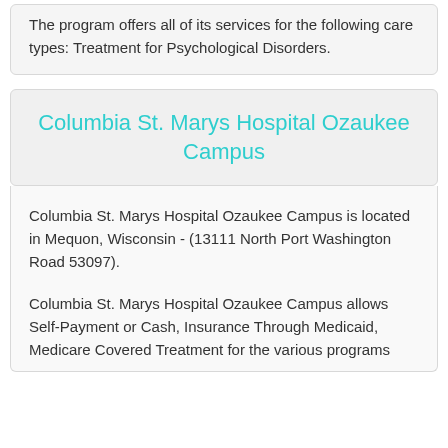The program offers all of its services for the following care types: Treatment for Psychological Disorders.
Columbia St. Marys Hospital Ozaukee Campus
Columbia St. Marys Hospital Ozaukee Campus is located in Mequon, Wisconsin - (13111 North Port Washington Road 53097).
Columbia St. Marys Hospital Ozaukee Campus allows Self-Payment or Cash, Insurance Through Medicaid, Medicare Covered Treatment for the various programs